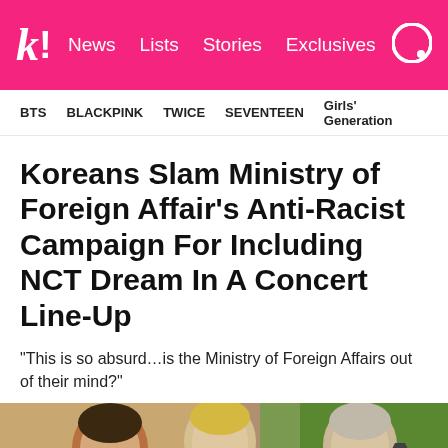k! News Lists Stories Exclusives
BTS   BLACKPINK   TWICE   SEVENTEEN   Girls' Generation
Koreans Slam Ministry of Foreign Affair's Anti-Racist Campaign For Including NCT Dream In A Concert Line-Up
“This is so absurd…is the Ministry of Foreign Affairs out of their mind?”
[Figure (photo): Photo of NCT Dream members - three young men posing together, one wearing an orange/brown outfit on the left, one in white in the center with blonde hair, and one on the right with light hair]